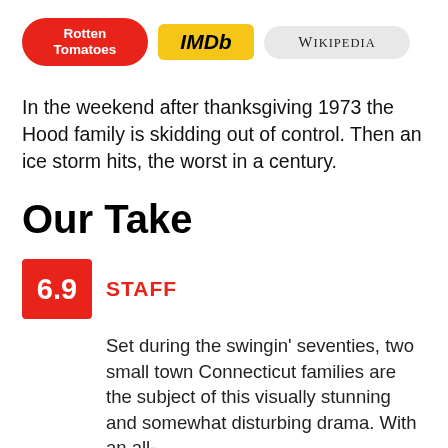[Figure (logo): Three logos in pill/badge shapes: Rotten Tomatoes (red oval), IMDb (yellow rectangle), Wikipedia (gray oval)]
In the weekend after thanksgiving 1973 the Hood family is skidding out of control. Then an ice storm hits, the worst in a century.
Our Take
6.9 STAFF
Set during the swingin' seventies, two small town Connecticut families are the subject of this visually stunning and somewhat disturbing drama. With an all-